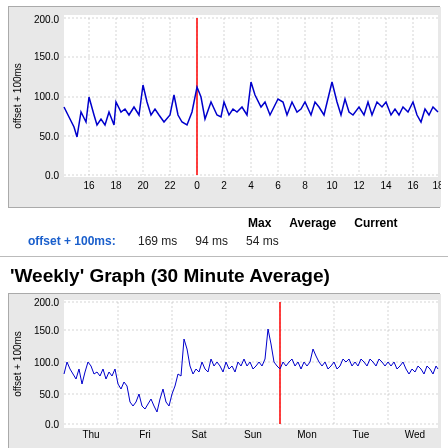[Figure (line-chart): Daily graph]
|  | Max | Average | Current |
| --- | --- | --- | --- |
| offset + 100ms: | 169 ms | 94 ms | 54 ms |
'Weekly' Graph (30 Minute Average)
[Figure (line-chart): Weekly graph]
|  | Max | Average | Current |
| --- | --- | --- | --- |